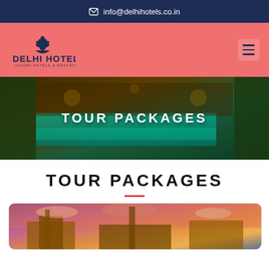info@delhihotels.co.in
[Figure (logo): Delhi Hotels – Luxury Hotels & Resorts lotus logo with text in dark navy blue]
[Figure (photo): Hotel swimming pool surrounded by tropical greenery at night with warm lighting]
TOUR PACKAGES
TOUR PACKAGES
[Figure (photo): Grand hotel building exterior at sunset with dramatic pink and purple sky]